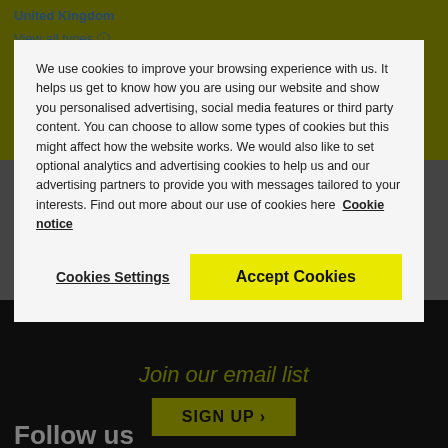United Kingdom
View all types
We use cookies to improve your browsing experience with us. It helps us get to know how you are using our website and show you personalised advertising, social media features or third party content. You can choose to allow some types of cookies but this might affect how the website works. We would also like to set optional analytics and advertising cookies to help us and our advertising partners to provide you with messages tailored to your interests. Find out more about our use of cookies here Cookie notice
Cookies Settings
Accept Cookies
Join our email list
SIGN UP >
Follow us